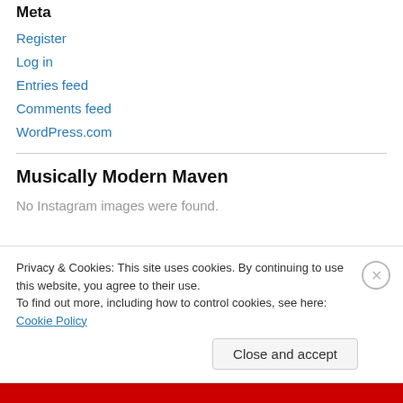Meta
Register
Log in
Entries feed
Comments feed
WordPress.com
Musically Modern Maven
No Instagram images were found.
Privacy & Cookies: This site uses cookies. By continuing to use this website, you agree to their use.
To find out more, including how to control cookies, see here: Cookie Policy
Close and accept